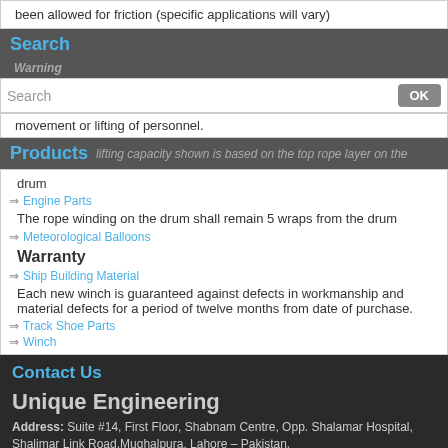been allowed for friction (specific applications will vary)
Search
Warning
Search
movement or lifting of personnel.
Products
lifting capacity shown is based on the top rope layer on the drum
Engine Parts
The rope winding on the drum shall remain 5 wraps from the drum
Meteorological Balloons
Warranty
Ship Building Material
Each new winch is guaranteed against defects in workmanship and material defects for a period of twelve months from date of purchase.
Track Shoe Parts
Winch
Contact Us
Unique Engineering
Address: Suite #14, First Floor, Shabnam Centre, Opp. Shalamar Hospital, Shalimar Link Road, Mughalpura, Lahore – Pakistan.